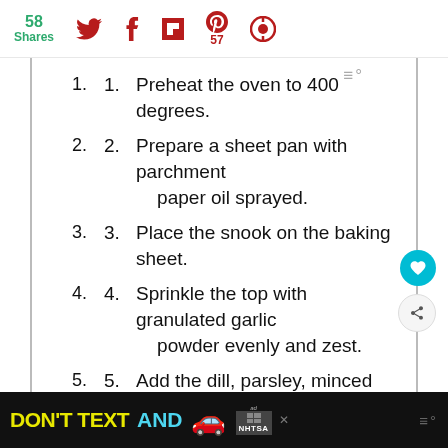58 Shares | Twitter | Facebook | Flipboard | Pinterest 57 | Other
Preheat the oven to 400 degrees.
Prepare a sheet pan with parchment paper oil sprayed.
Place the snook on the baking sheet.
Sprinkle the top with granulated garlic powder evenly and zest.
Add the dill, parsley, minced garlic to top.
Generously sprinkle the top of the fish
DON'T TEXT AND [car emoji] ad NHTSA